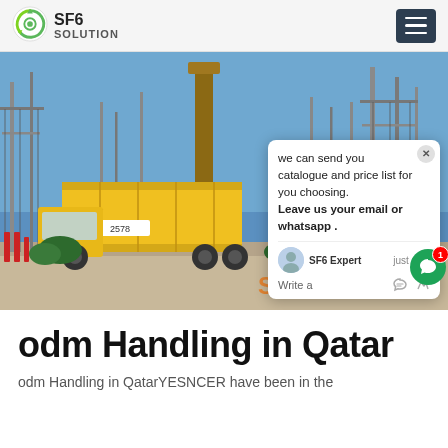SF6 SOLUTION
[Figure (photo): Electrical substation with high-voltage equipment, towers, and a yellow truck/container. Workers performing SF6 gas handling. Blue sky background. Watermark text 'Sf6China' in orange in bottom right corner. Chat popup overlay visible with message about catalogue and price list.]
odm Handling in Qatar
odm Handling in QatarYESNCER have been in the